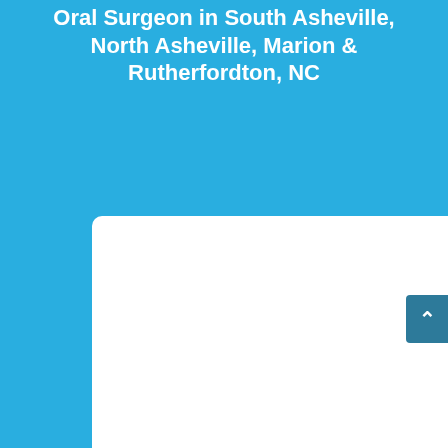Oral Surgeon in South Asheville, North Asheville, Marion & Rutherfordton, NC
[Figure (screenshot): White rounded rectangle card (image carousel/slideshow) with left and right navigation arrows in light gray]